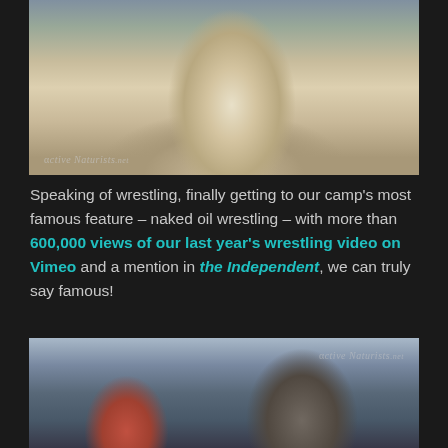[Figure (photo): A classical marble wrestling statue in the foreground with people sitting in the background on sandy ground, watermarked with ActiveNaturists.net]
Speaking of wrestling, finally getting to our camp's most famous feature – naked oil wrestling – with more than 600,000 views of our last year's wrestling video on Vimeo and a mention in the Independent, we can truly say famous!
[Figure (photo): Two people outdoors, a woman with red hair on the left and a man with a beard on the right, with industrial buildings in the background, watermarked with ActiveNaturists.net]